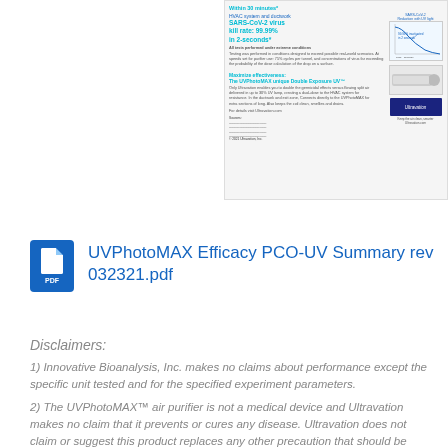[Figure (screenshot): Thumbnail/screenshot of a product document page for Ultravation UVPhotoMAX showing SARS-CoV-2 virus kill rate claims (99.99% in 2 seconds), a graph of SARS-CoV-2 reduction with UV light, and Ultravation branding/logo.]
UVPhotoMAX Efficacy PCO-UV Summary rev 032321.pdf
Disclaimers:
1) Innovative Bioanalysis, Inc. makes no claims about performance except the specific unit tested and for the specified experiment parameters.
2) The UVPhotoMAX™ air purifier is not a medical device and Ultravation makes no claim that it prevents or cures any disease. Ultravation does not claim or suggest this product replaces any other precaution that should be